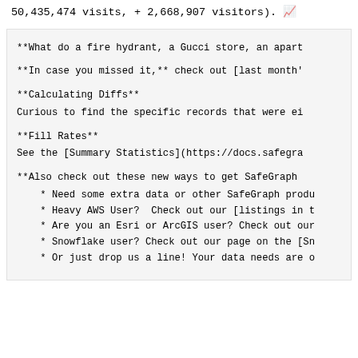50,435,474 visits, + 2,668,907 visitors). ✅
**What do a fire hydrant, a Gucci store, an apart
**In case you missed it,** check out [last month'
**Calculating Diffs**
Curious to find the specific records that were ei
**Fill Rates**
See the [Summary Statistics](https://docs.safegra
**Also check out these new ways to get SafeGraph
* Need some extra data or other SafeGraph produ
* Heavy AWS User?  Check out our [listings in t
* Are you an Esri or ArcGIS user? Check out our
* Snowflake user? Check out our page on the [Sn
* Or just drop us a line! Your data needs are o